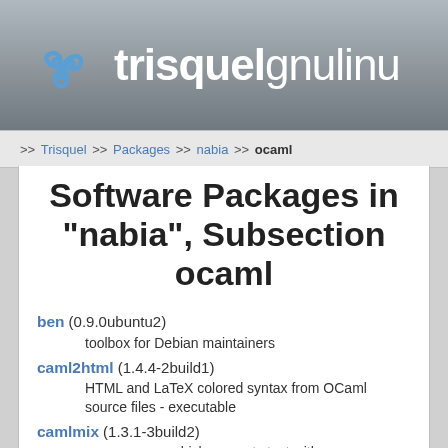[Figure (logo): Trisquel GNU Linux logo with triskelion spiral symbol and site name header]
>> Trisquel >> Packages >> nabia >> ocaml
Software Packages in "nabia", Subsection ocaml
ben (0.9.0ubuntu2)
    toolbox for Debian maintainers
caml2html (1.4.4-2build1)
    HTML and LaTeX colored syntax from OCaml source files - executable
camlmix (1.3.1-3build2)
    preprocessor which converts text with embedded OCaml
cppo (1.6.6-1build1)
    cpp for OCaml
dune (2.1.3-2)
    composable build system for OCaml projects --